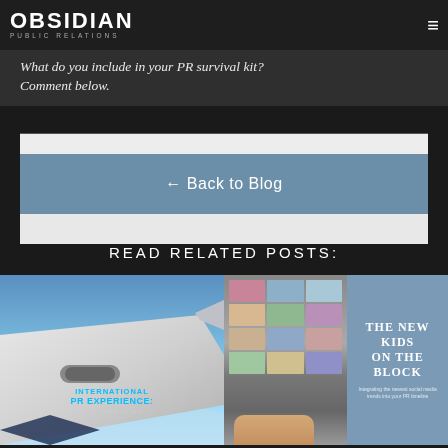OBSIDIAN PUBLIC RELATIONS
What do you include in your PR survival kit? Comment below.
← Back to Blog
READ RELATED POSTS:
[Figure (photo): Left blog post card with airplane wing image and text: INTERNATIONAL PR EXPERIENCE: IS IT WORTH IT?]
[Figure (photo): Right blog post card with social media phone image and text: THE NEW KIDS ON THE BLOCK - Integrating the newest social media trends into your PR timeline]